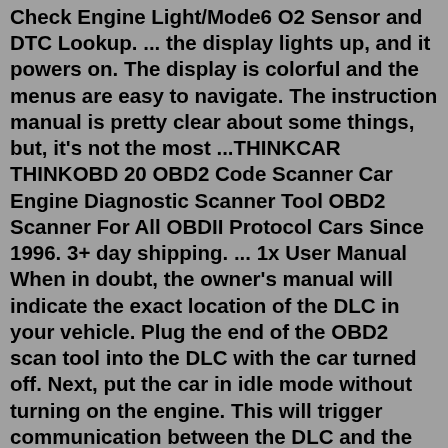Check Engine Light/Mode6 O2 Sensor and DTC Lookup. ... the display lights up, and it powers on. The display is colorful and the menus are easy to navigate. The instruction manual is pretty clear about some things, but, it's not the most ...THINKCAR THINKOBD 20 OBD2 Code Scanner Car Engine Diagnostic Scanner Tool OBD2 Scanner For All OBDII Protocol Cars Since 1996. 3+ day shipping. ... 1x User Manual When in doubt, the owner's manual will indicate the exact location of the DLC in your vehicle. Plug the end of the OBD2 scan tool into the DLC with the car turned off. Next, put the car in idle mode without turning on the engine. This will trigger communication between the DLC and the scanner.Add to cart. The Innova CarScan Advisor 5210 is an impressive entry-level OBD2 scan tool that provides high-end features like Live Data, thanks to its patented all-in-one color display. Extra-large and easy to read with more than 20 pieces of information on a single screen, this diagnostic scan tool delivers powerful information at a powerful ...Find car